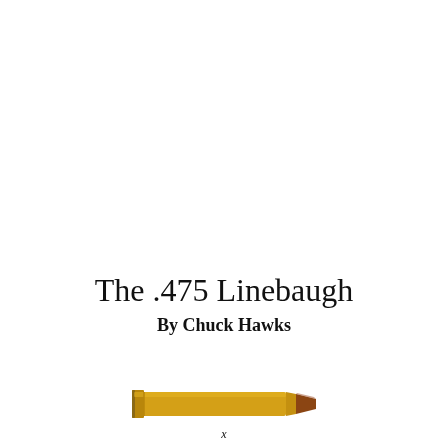The .475 Linebaugh
By Chuck Hawks
[Figure (illustration): Illustration of a .475 Linebaugh cartridge/bullet, shown in profile with a golden brass case and brown copper tip, oriented horizontally.]
x